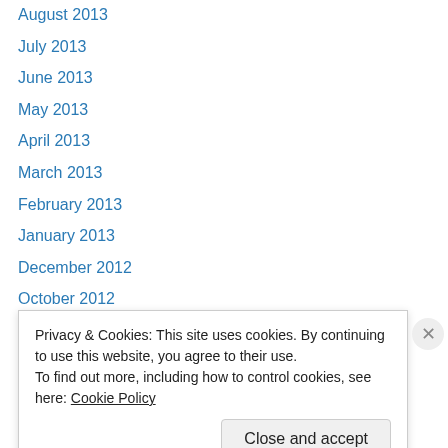August 2013
July 2013
June 2013
May 2013
April 2013
March 2013
February 2013
January 2013
December 2012
October 2012
September 2012
October 2011
September 2011
Privacy & Cookies: This site uses cookies. By continuing to use this website, you agree to their use. To find out more, including how to control cookies, see here: Cookie Policy
Close and accept